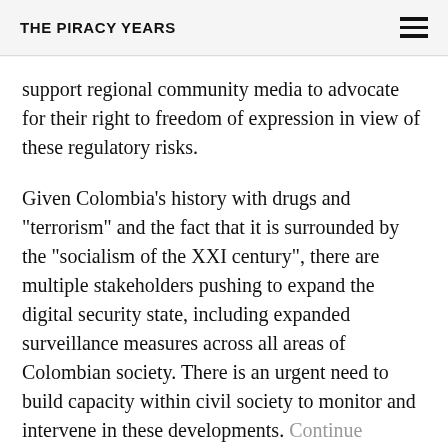THE PIRACY YEARS
support regional community media to advocate for their right to freedom of expression in view of these regulatory risks.
Given Colombia’s history with drugs and “terrorism” and the fact that it is surrounded by the “socialism of the XXI century”, there are multiple stakeholders pushing to expand the digital security state, including expanded surveillance measures across all areas of Colombian society. There is an urgent need to build capacity within civil society to monitor and intervene in these developments. Continue reading →